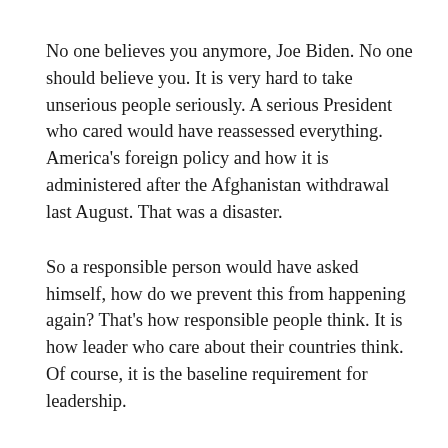No one believes you anymore, Joe Biden. No one should believe you. It is very hard to take unserious people seriously. A serious President who cared would have reassessed everything. America's foreign policy and how it is administered after the Afghanistan withdrawal last August. That was a disaster.
So a responsible person would have asked himself, how do we prevent this from happening again? That's how responsible people think. It is how leader who care about their countries think. Of course, it is the baseline requirement for leadership.
This was a disaster. How do we prevent it from happening again? That's not hard.